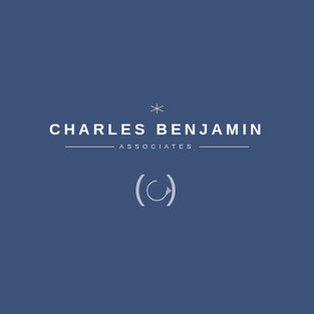[Figure (logo): Charles Benjamin Associates logo on dark blue background, featuring a decorative star/asterisk symbol above the company name in bold white uppercase letters, with 'ASSOCIATES' in spaced small caps between two horizontal rules, and a circular arrow icon below]
CHARLES BENJAMIN
ASSOCIATES